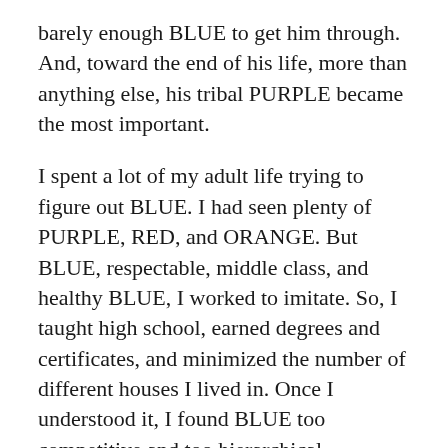barely enough BLUE to get him through. And, toward the end of his life, more than anything else, his tribal PURPLE became the most important.
I spent a lot of my adult life trying to figure out BLUE. I had seen plenty of PURPLE, RED, and ORANGE. But BLUE, respectable, middle class, and healthy BLUE, I worked to imitate. So, I taught high school, earned degrees and certificates, and minimized the number of different houses I lived in. Once I understood it, I found BLUE too competitive and too hierarchical.
Even before walking across Spain, BLUE had become scratchy. I wouldn't have walked the Camino without Sue, or across England without Julie. How these walks changed me couldn't be